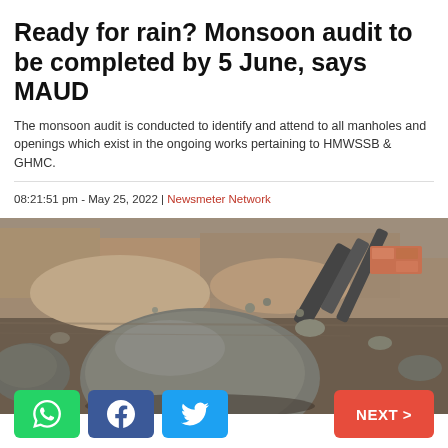Ready for rain? Monsoon audit to be completed by 5 June, says MAUD
The monsoon audit is conducted to identify and attend to all manholes and openings which exist in the ongoing works pertaining to HMWSSB & GHMC.
08:21:51 pm - May 25, 2022 | Newsmeter Network
[Figure (photo): Close-up photograph of a construction site or road surface showing large stones, rubble, soil, and pipes — likely depicting an open manhole or excavation area.]